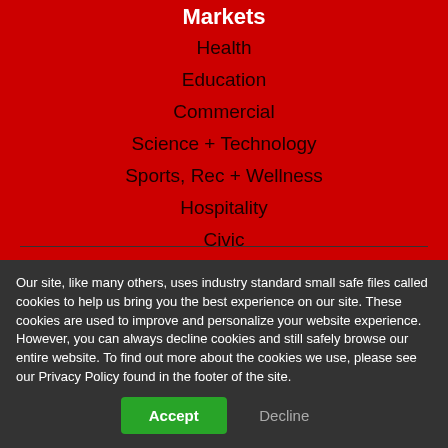Markets
Health
Education
Commercial
Science + Technology
Sports, Rec + Wellness
Hospitality
Civic
Services
Architecture
Our site, like many others, uses industry standard small safe files called cookies to help us bring you the best experience on our site. These cookies are used to improve and personalize your website experience. However, you can always decline cookies and still safely browse our entire website. To find out more about the cookies we use, please see our Privacy Policy found in the footer of the site.